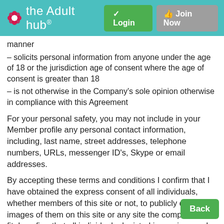the Adult hub® | Login | Join Now
manner
– solicits personal information from anyone under the age of 18 or the jurisdiction age of consent where the age of consent is greater than 18
– is not otherwise in the Company's sole opinion otherwise in compliance with this Agreement
For your personal safety, you may not include in your Member profile any personal contact information, including, last name, street addresses, telephone numbers, URLs, messenger ID's, Skype or email addresses.
By accepting these terms and conditions I confirm that I have obtained the express consent of all individuals, whether members of this site or not, to publicly display images of them on this site or any site the company sees fit. I confirm that all individuals depicted in any images I upload are aged 18 years or over at the time the recording was taken. The company, our site or holders
Back